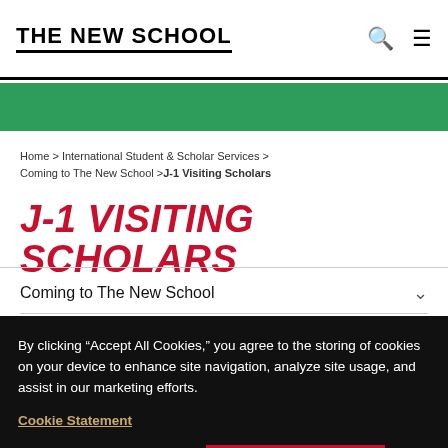THE NEW SCHOOL
Home > International Student & Scholar Services > Coming to The New School > J-1 Visiting Scholars
J-1 VISITING SCHOLARS
Coming to The New School
By clicking “Accept All Cookies,” you agree to the storing of cookies on your device to enhance site navigation, analyze site usage, and assist in our marketing efforts.
Cookie Statement
Customize Settings
Accept All Cookies